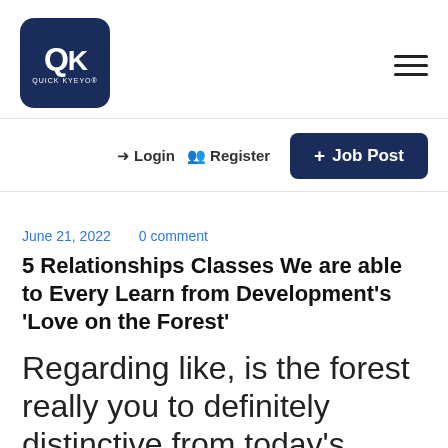[Figure (logo): Quick Kyeyo logo: dark navy rounded square with QK letters and QUICK KYEYO text below]
Login   Register   + Job Post
June 21, 2022   0 comment
5 Relationships Classes We are able to Every Learn from Development’s ‘Love on the Forest’
Regarding like, is the forest really you to definitely distinctive from today’s